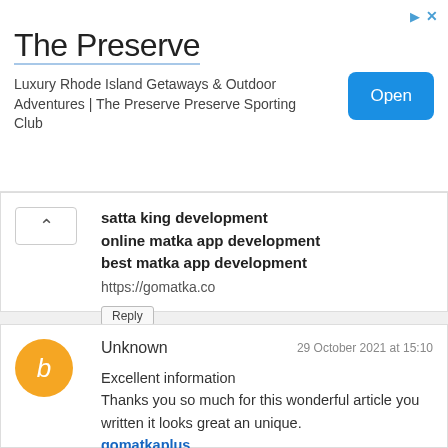[Figure (screenshot): Advertisement banner for The Preserve - Luxury Rhode Island Getaways & Outdoor Adventures | The Preserve Sporting Club, with an Open button]
satta king development
online matka app development
best matka app development
https://gomatka.co
Unknown
29 October 2021 at 15:10
Excellent information
Thanks you so much for this wonderful article you written it looks great an unique.
gomatkaplus
Starline games
satta tv
satta tv
Satta king
Sattamatka